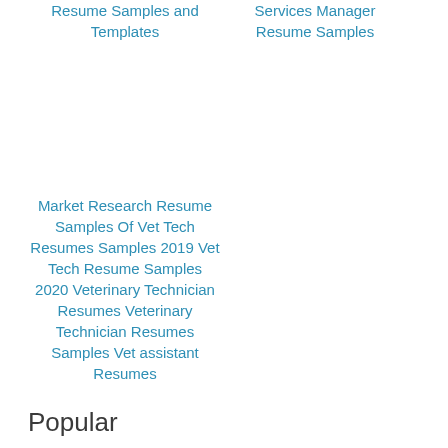Resume Samples and Templates
Services Manager Resume Samples
Market Research Resume Samples Of Vet Tech Resumes Samples 2019 Vet Tech Resume Samples 2020 Veterinary Technician Resumes Veterinary Technician Resumes Samples Vet assistant Resumes
Popular